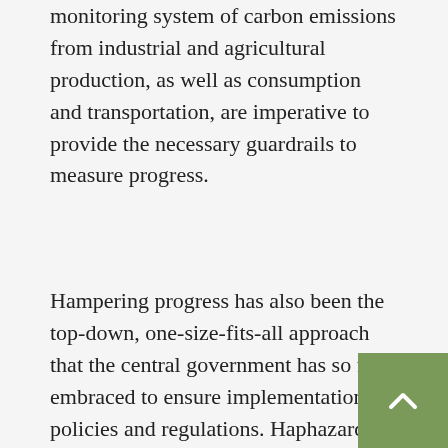monitoring system of carbon emissions from industrial and agricultural production, as well as consumption and transportation, are imperative to provide the necessary guardrails to measure progress.
Hampering progress has also been the top-down, one-size-fits-all approach that the central government has so far embraced to ensure implementation of policies and regulations. Haphazard and undifferentiated enforcement of policies and regulations by not fully trained and educated local or regional governments has led to obstruction of otherwise compliant local businesses and activities, to the detriment to local livelihoods. Local and regional governments have to be empowered and given the capacity to make implementation decisions based on the local